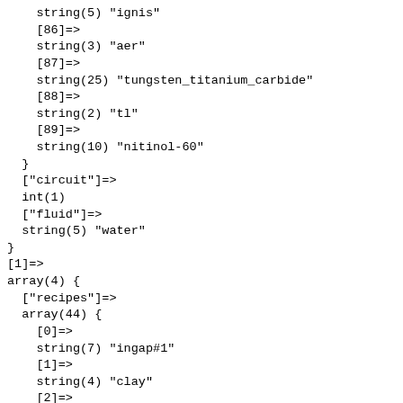string(5) "ignis"
[86]=>
string(3) "aer"
[87]=>
string(25) "tungsten_titanium_carbide"
[88]=>
string(2) "tl"
[89]=>
string(10) "nitinol-60"
}
["circuit"]=>
int(1)
["fluid"]=>
string(5) "water"
}
[1]=>
array(4) {
  ["recipes"]=>
  array(44) {
    [0]=>
    string(7) "ingap#1"
    [1]=>
    string(4) "clay"
    [2]=>
    string(10) "dark_steel"
    [3]=>
    string(16) "electrical_steel"
    [4]=>
    string(17) "crystalline_alloy"
    [5]=>